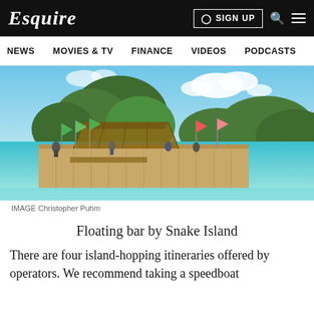Esquire | SIGN UP
NEWS   MOVIES & TV   FINANCE   VIDEOS   PODCASTS
[Figure (photo): Floating bar/raft structure on turquoise water near green tropical mountains, with colorful flags and thatched roof, people visible on the platform.]
IMAGE Christopher Puhm
Floating bar by Snake Island
There are four island-hopping itineraries offered by operators. We recommend taking a speedboat